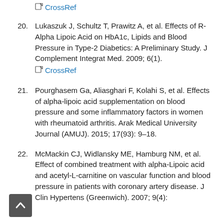CrossRef (link for previous reference)
20. Lukaszuk J, Schultz T, Prawitz A, et al. Effects of R-Alpha Lipoic Acid on HbA1c, Lipids and Blood Pressure in Type-2 Diabetics: A Preliminary Study. J Complement Integrat Med. 2009; 6(1). CrossRef
21. Pourghasem Ga, Aliasghari F, Kolahi S, et al. Effects of alpha-lipoic acid supplementation on blood pressure and some inflammatory factors in women with rheumatoid arthritis. Arak Medical University Journal (AMUJ). 2015; 17(93): 9–18.
22. McMackin CJ, Widlansky ME, Hamburg NM, et al. Effect of combined treatment with alpha-Lipoic acid and acetyl-L-carnitine on vascular function and blood pressure in patients with coronary artery disease. J Clin Hypertens (Greenwich). 2007; 9(4): 848–855.